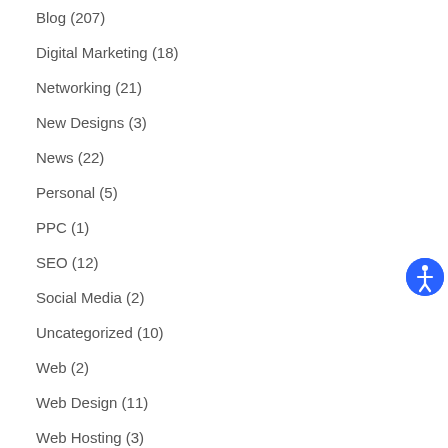Blog (207)
Digital Marketing (18)
Networking (21)
New Designs (3)
News (22)
Personal (5)
PPC (1)
SEO (12)
Social Media (2)
Uncategorized (10)
Web (2)
Web Design (11)
Web Hosting (3)